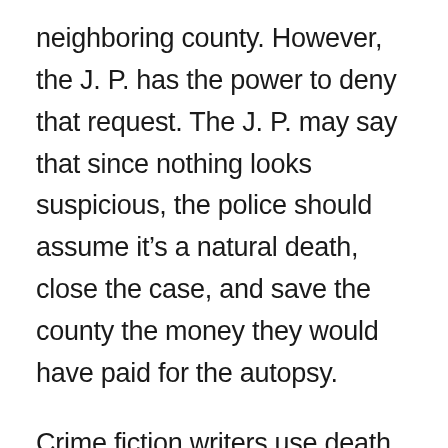neighboring county. However, the J. P. has the power to deny that request. The J. P. may say that since nothing looks suspicious, the police should assume it's a natural death, close the case, and save the county the money they would have paid for the autopsy.
Crime fiction writers use death to build plots in novels all the time. Ms. Burke suggested that by mentioning NamUs as part of a fictional family's search to find a missing loved one, authors can raise